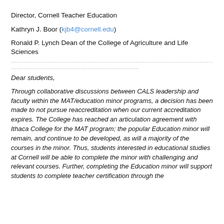Director, Cornell Teacher Education
Kathryn J. Boor (kjb4@cornell.edu)
Ronald P. Lynch Dean of the College of Agriculture and Life Sciences
Dear students,
Through collaborative discussions between CALS leadership and faculty within the MAT/education minor programs, a decision has been made to not pursue reaccreditation when our current accreditation expires. The College has reached an articulation agreement with Ithaca College for the MAT program; the popular Education minor will remain, and continue to be developed, as will a majority of the courses in the minor. Thus, students interested in educational studies at Cornell will be able to complete the minor with challenging and relevant courses. Further, completing the Education minor will support students to complete teacher certification through the